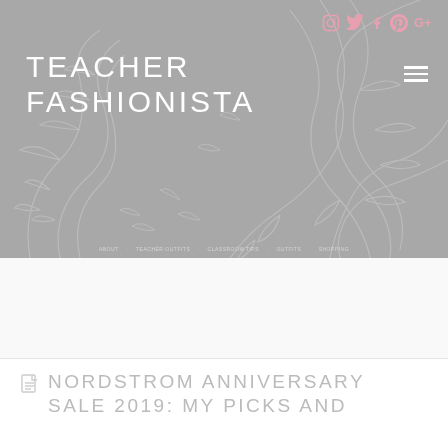[Figure (illustration): Website header banner with grey background and decorative white floral/leaf pattern overlay. Contains the Teacher Fashionista logo in white uppercase text, social media icons (Instagram, Twitter, Facebook, Pinterest, Google+) in pink at top right, a hamburger menu icon, and navigation links.]
TEACHER FASHiONiSTA
NORDSTROM ANNIVERSARY SALE 2019: MY PICKS AND